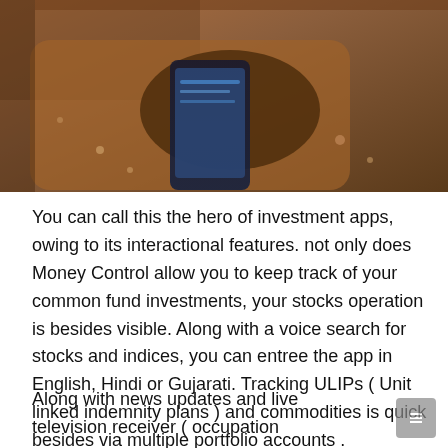[Figure (photo): A person holding a smartphone, wearing a brown jacket, viewed from above/side angle.]
You can call this the hero of investment apps, owing to its interactional features. not only does Money Control allow you to keep track of your common fund investments, your stocks operation is besides visible. Along with a voice search for stocks and indices, you can entree the app in English, Hindi or Gujarati. Tracking ULIPs ( Unit linked indemnity plans ) and commodities is quick besides via multiple portfolio accounts .
Along with news updates and live television receiver ( occupation newsworthiness, CNBC ), you can follow your front-runner topic and message boards and interact with other users. A articulation